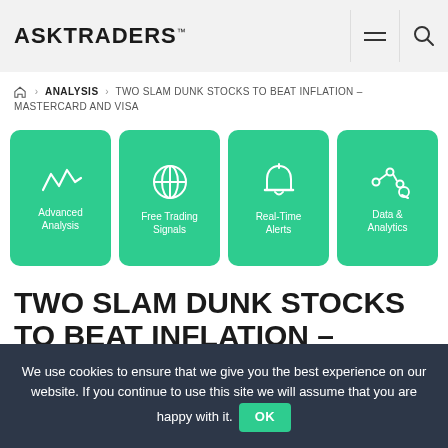ASKTRADERS™
Home > ANALYSIS > TWO SLAM DUNK STOCKS TO BEAT INFLATION – MASTERCARD AND VISA
[Figure (infographic): Four green rounded cards: Advanced Analysis (waveform icon), Free Trading Signals (globe icon), Real-Time Alerts (bell icon), Data & Analytics (network/analytics icon)]
TWO SLAM DUNK STOCKS TO BEAT INFLATION –
We use cookies to ensure that we give you the best experience on our website. If you continue to use this site we will assume that you are happy with it. OK